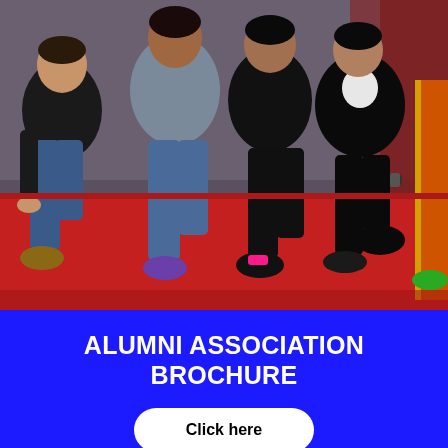[Figure (photo): Group of men kneeling on a red carpet, wearing casual clothes including jeans and t-shirts, with a woman in traditional Indian dress partially visible on the right side.]
ALUMNI ASSOCIATION BROCHURE
Click here